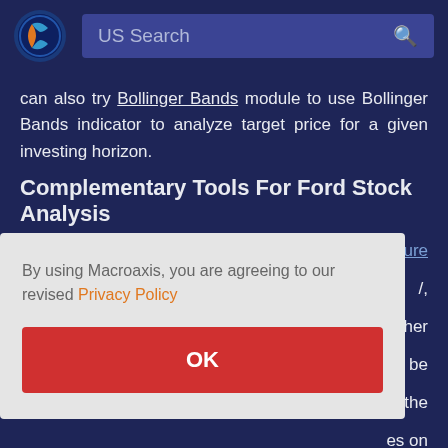[Figure (logo): Macroaxis logo - dark blue circle with orange and blue globe icon]
US Search
can also try Bollinger Bands module to use Bollinger Bands indicator to analyze target price for a given investing horizon.
Complementary Tools For Ford Stock Analysis
By using Macroaxis, you are agreeing to our revised Privacy Policy
OK
easure
ther
n be
t the
es on
studying past and present price action to predict the